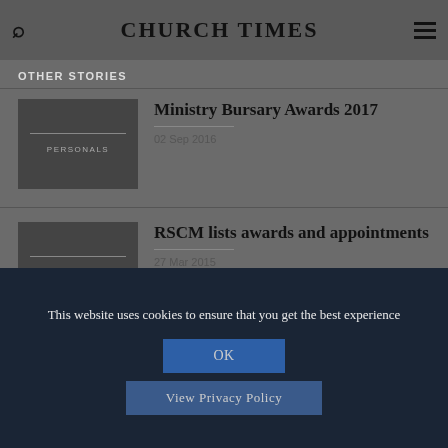CHURCH TIMES
OTHER STORIES
[Figure (photo): Thumbnail placeholder image with text PERSONALS]
Ministry Bursary Awards 2017
02 Sep 2016
[Figure (photo): Thumbnail placeholder image with text APPOINTMENTS]
RSCM lists awards and appointments
27 Mar 2015
This website uses cookies to ensure that you get the best experience
OK
View Privacy Policy